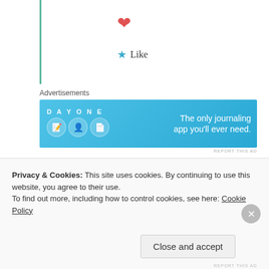[Figure (illustration): Red heart icon]
★ Like
Advertisements
[Figure (illustration): DAY ONE journaling app advertisement banner. Blue background with app icons and tagline: The only journaling app you'll ever need.]
REPORT THIS AD
Deeksha Bhardwaj
24th Aug 2021 at 9:31 am
Privacy & Cookies: This site uses cookies. By continuing to use this website, you agree to their use.
To find out more, including how to control cookies, see here: Cookie Policy
Close and accept